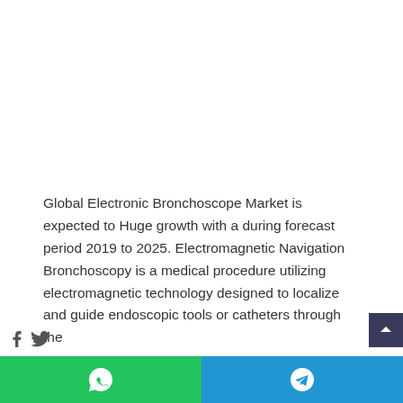Global Electronic Bronchoscope Market is expected to Huge growth with a during forecast period 2019 to 2025. Electromagnetic Navigation Bronchoscopy is a medical procedure utilizing electromagnetic technology designed to localize and guide endoscopic tools or catheters through the